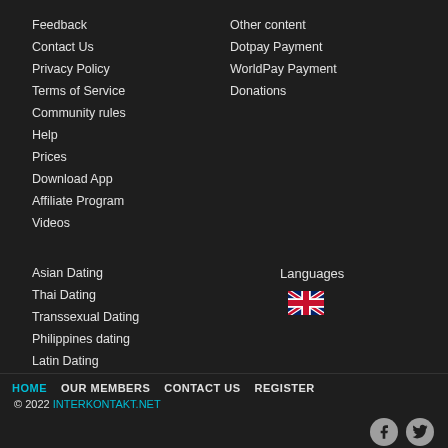Feedback
Contact Us
Privacy Policy
Terms of Service
Community rules
Help
Prices
Download App
Affiliate Program
Videos
Other content
Dotpay Payment
WorldPay Payment
Donations
Asian Dating
Thai Dating
Transsexual Dating
Philippines dating
Latin Dating
Languages
[Figure (illustration): UK flag icon]
HOME   OUR MEMBERS   CONTACT US   REGISTER
© 2022 INTERKONTAKT.NET